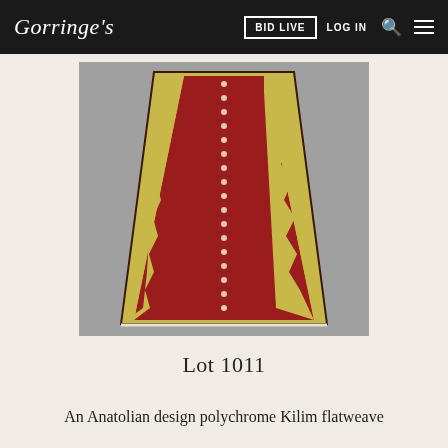Gorringe's | BID LIVE | LOG IN
[Figure (photo): An Anatolian design polychrome kilim flatweave rug photographed on a grey floor, featuring a predominantly red centre with zigzag yellow/gold border patterns on both sides, and a dotted vertical line running down the centre.]
Lot 1011
An Anatolian design polychrome Kilim flatweave